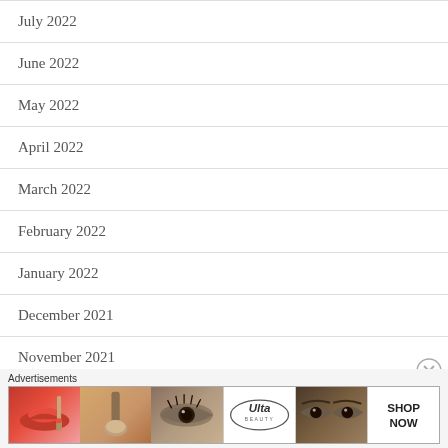July 2022
June 2022
May 2022
April 2022
March 2022
February 2022
January 2022
December 2021
November 2021
October 2021
September 2021
Advertisements
[Figure (photo): Ulta Beauty advertisement banner showing makeup images (lips, brush, eye, logo, eyes) with SHOP NOW call to action]